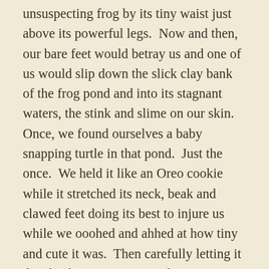unsuspecting frog by its tiny waist just above its powerful legs.  Now and then, our bare feet would betray us and one of us would slip down the slick clay bank of the frog pond and into its stagnant waters, the stink and slime on our skin.  Once, we found ourselves a baby snapping turtle in that pond.  Just the once.  We held it like an Oreo cookie while it stretched its neck, beak and clawed feet doing its best to injure us while we ooohed and ahhed at how tiny and cute it was.  Then carefully letting it dive back into its swampy home, as we did with all the little pond frogs we caught.  (This wasn't what we would do with the big, meaty bullfrogs we would catch in the cove though.  Those guys became breakfast and a crisp dollar bill from the Pattersons for helping to quiet the cove where their tent trailer sat.  The dozens of bullfrogs would 'ribbit' their love songs loudly all night long.)